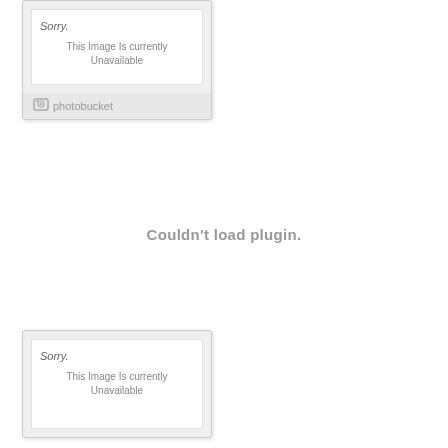[Figure (screenshot): Photobucket placeholder card showing 'Sorry. This Image Is Currently Unavailable' with photobucket logo at bottom]
Couldn't load plugin.
[Figure (screenshot): Second Photobucket placeholder card showing 'Sorry. This Image Is Currently Unavailable' partially visible at bottom]